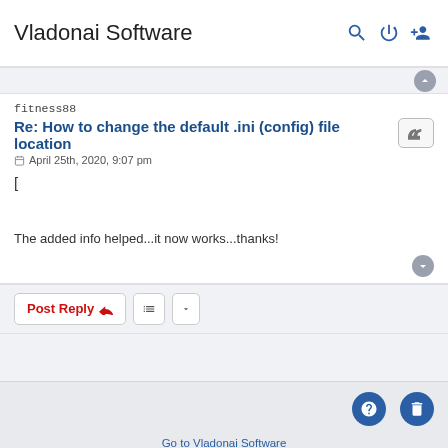Vladonai Software
fitness88
Re: How to change the default .ini (config) file location
April 25th, 2020, 9:07 pm
[
The added info helped...it now works...thanks!
Post Reply
Go to Vladonai Software
Privacy | Terms